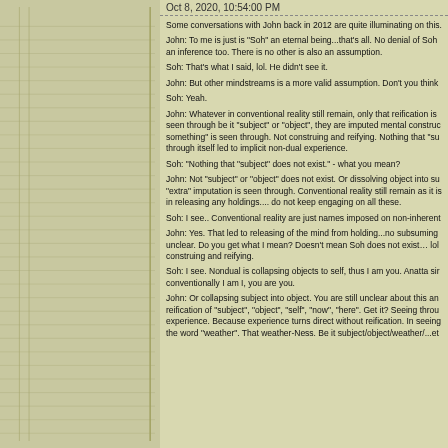Oct 8, 2020, 10:54:00 PM
Some conversations with John back in 2012 are quite illuminating on this.
John: To me is just is "Soh" an eternal being...that's all. No denial of Soh an inference too. There is no other is also an assumption.
Soh: That's what I said, lol. He didn't see it.
John: But other mindstreams is a more valid assumption. Don't you think
Soh: Yeah.
John: Whatever in conventional reality still remain, only that reification is seen through be it "subject" or "object", they are imputed mental construc something" is seen through. Not construing and reifying. Nothing that "su through itself led to implicit non-dual experience.
Soh: "Nothing that "subject" does not exist." - what you mean?
John: Not "subject" or "object" does not exist. Or dissolving object into su "extra" imputation is seen through. Conventional reality still remain as it is in releasing any holdings.... do not keep engaging on all these.
Soh: I see.. Conventional reality are just names imposed on non-inherent
John: Yes. That led to releasing of the mind from holding...no subsuming unclear. Do you get what I mean? Doesn't mean Soh does not exist... lol construing and reifying.
Soh: I see. Nondual is collapsing objects to self, thus I am you. Anatta sir conventionally I am I, you are you.
John: Or collapsing subject into object. You are still unclear about this an reification of "subject", "object", "self", "now", "here". Get it? Seeing throu experience. Because experience turns direct without reification. In seeing the word "weather". That weather-Ness. Be it subject/object/weather/...et